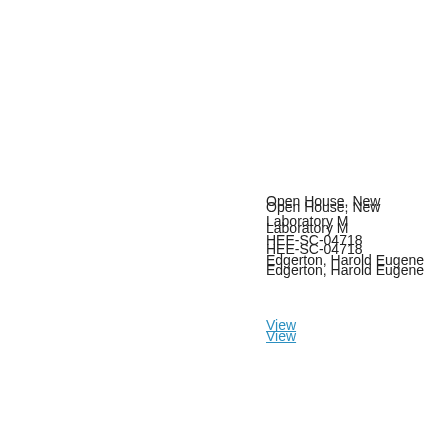Open House, New Laboratory M
HEE-SC-04718
Edgerton, Harold Eugene
View
Dinner event - Esther Edgerton, H
HEE-SC-06790
Edgerton, Harold Eugene
1976-02-
View
Apollo/Saturn launch site, Cape H
HEE-SC-07683
Edgerton, Harold Eugene